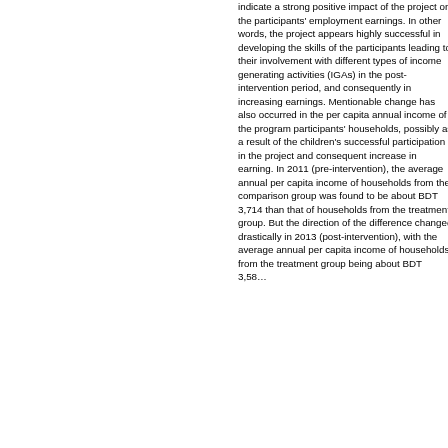indicate a strong positive impact of the project on the participants' employment earnings. In other words, the project appears highly successful in developing the skills of the participants leading to their involvement with different types of income generating activities (IGAs) in the post-intervention period, and consequently in increasing earnings. Mentionable change has also occurred in the per capita annual income of the program participants' households, possibly as a result of the children's successful participation in the project and consequent increase in earning. In 2011 (pre-intervention), the average annual per capita income of households from the comparison group was found to be about BDT 3,714 than that of households from the treatment group. But the direction of the difference changed drastically in 2013 (post-intervention), with the average annual per capita income of households from the treatment group being about BDT 3,58...